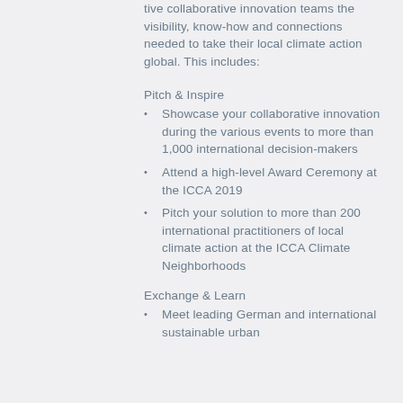tive collaborative innovation teams the visibility, know-how and connections needed to take their local climate action global. This includes:
Pitch & Inspire
Showcase your collaborative innovation during the various events to more than 1,000 international decision-makers
Attend a high-level Award Ceremony at the ICCA 2019
Pitch your solution to more than 200 international practitioners of local climate action at the ICCA Climate Neighborhoods
Exchange & Learn
Meet leading German and international sustainable urban